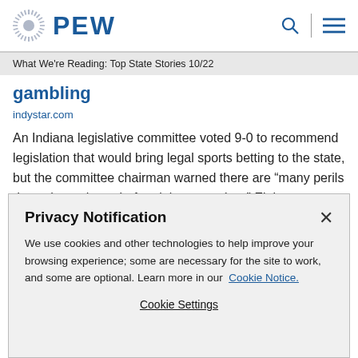PEW
What We're Reading: Top State Stories 10/22
gambling
indystar.com
An Indiana legislative committee voted 9-0 to recommend legislation that would bring legal sports betting to the state, but the committee chairman warned there are “many perils down the pathway before it becomes law.” Eight states
Privacy Notification
We use cookies and other technologies to help improve your browsing experience; some are necessary for the site to work, and some are optional. Learn more in our Cookie Notice.
Cookie Settings